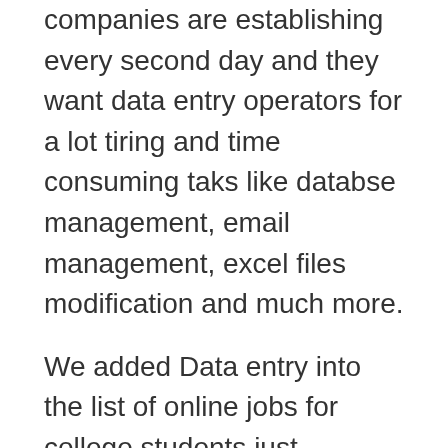companies are establishing every second day and they want data entry operators for a lot tiring and time consuming taks like databse management, email management, excel files modification and much more.
We added Data entry into the list of online jobs for college students just because there are a lot jobs related to Data entry on Freelance sites and job boards.
You can join Fiverr to start your job as a data entry operator.
Also read: Work From Home Jobs for moms (17